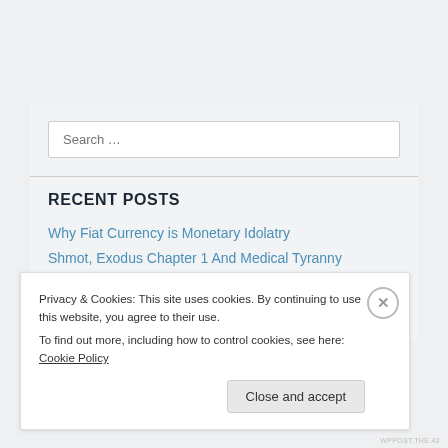Search ...
RECENT POSTS
Why Fiat Currency is Monetary Idolatry
Shmot, Exodus Chapter 1 And Medical Tyranny
Relishing Our Victory at the Battle of Kindergarten
How We WON The Maskless Battle at Kindergarten
Privacy & Cookies: This site uses cookies. By continuing to use this website, you agree to their use.
To find out more, including how to control cookies, see here: Cookie Policy
Close and accept